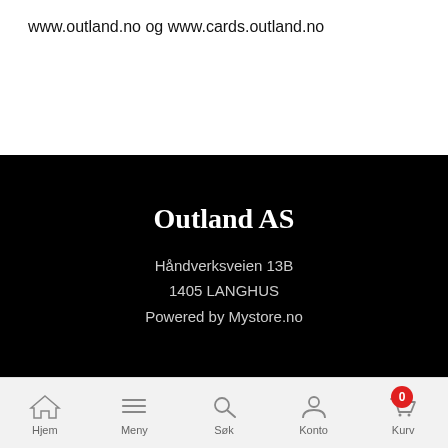www.outland.no og www.cards.outland.no
Outland AS
Håndverksveien 13B
1405 LANGHUS
Powered by Mystore.no
[Figure (screenshot): Mobile app navigation bar with icons for Hjem (home), Meny (menu), Søk (search), Konto (account), and Kurv (cart) with a red badge showing 0]